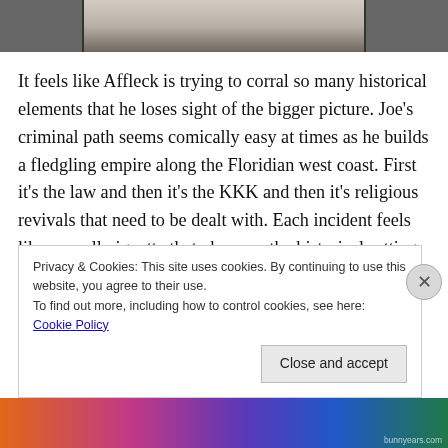[Figure (photo): Partial photo visible at the top of the page, cropped, showing dark and light tones]
It feels like Affleck is trying to corral so many historical elements that he loses sight of the bigger picture. Joe's criminal path seems comically easy at times as he builds a fledgling empire along the Floridian west coast. First it's the law and then it's the KKK and then it's religious revivals that need to be dealt with. Each incident feels like a small vignette that observes the historical setting with an angle that will be perfunctorily dropped in short order. The conflicts and antagonists don't feel sufficiently challenging
Privacy & Cookies: This site uses cookies. By continuing to use this website, you agree to their use.
To find out more, including how to control cookies, see here: Cookie Policy
Close and accept